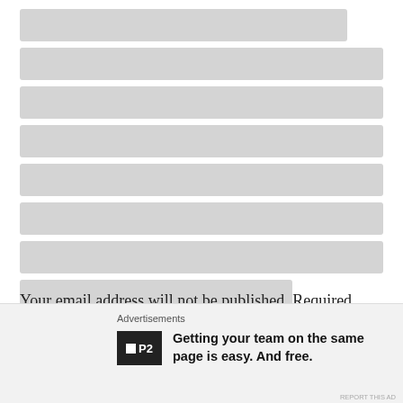[Figure (other): Block of redacted/censored text shown as grey rectangular bars replacing multiple lines of text content]
Your email address will not be published. Required fields are marked *
COMMENT *
[Figure (other): Close/dismiss button (circled X) in top right of advertisement overlay]
Advertisements
Getting your team on the same page is easy. And free.